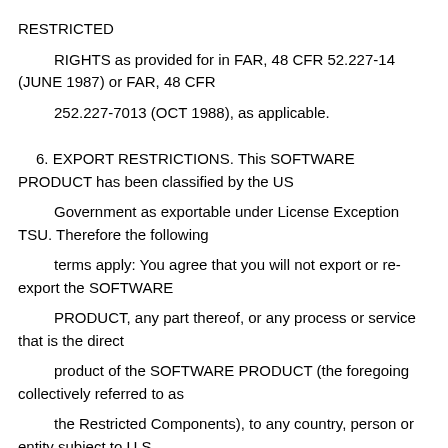RESTRICTED
RIGHTS as provided for in FAR, 48 CFR 52.227-14 (JUNE 1987) or FAR, 48 CFR
252.227-7013 (OCT 1988), as applicable.
6. EXPORT RESTRICTIONS. This SOFTWARE PRODUCT has been classified by the US
Government as exportable under License Exception TSU. Therefore the following
terms apply: You agree that you will not export or re-export the SOFTWARE
PRODUCT, any part thereof, or any process or service that is the direct
product of the SOFTWARE PRODUCT (the foregoing collectively referred to as
the Restricted Components), to any country, person or entity subject to U.S.
export restrictions. You specifically agree not to export or re-export any of